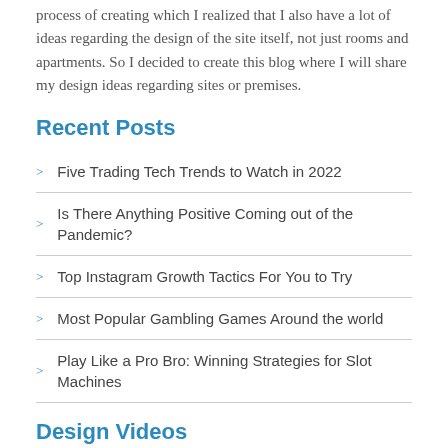process of creating which I realized that I also have a lot of ideas regarding the design of the site itself, not just rooms and apartments. So I decided to create this blog where I will share my design ideas regarding sites or premises.
Recent Posts
Five Trading Tech Trends to Watch in 2022
Is There Anything Positive Coming out of the Pandemic?
Top Instagram Growth Tactics For You to Try
Most Popular Gambling Games Around the world
Play Like a Pro Bro: Winning Strategies for Slot Machines
Design Videos